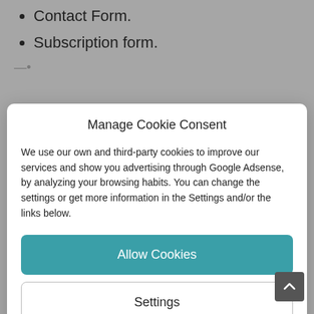Contact Form.
Subscription form.
Manage Cookie Consent
We use our own and third-party cookies to improve our services and show you advertising through Google Adsense, by analyzing your browsing habits. You can change the settings or get more information in the Settings and/or the links below.
Allow Cookies
Settings
Cookies Policy  Privacy Policy  Legal warning
Request access to personal data relating to the interested party.
Request its rectification or deletion